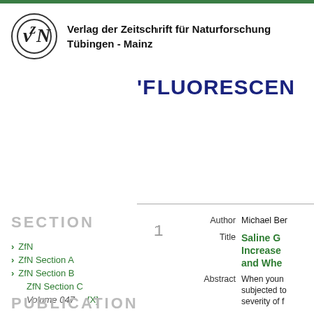[Figure (logo): VzN circular logo for Verlag der Zeitschrift für Naturforschung]
Verlag der Zeitschrift für Naturforschung
Tübingen - Mainz
'FLUORESCEN
SECTION
> ZfN
> ZfN Section A
> ZfN Section B
ZfN Section C
Volume 047  [X]
PUBLICATION
1
Author  Michael Ber
Title  Saline G Increase and Whe
Abstract  When youn subjected to severity of f